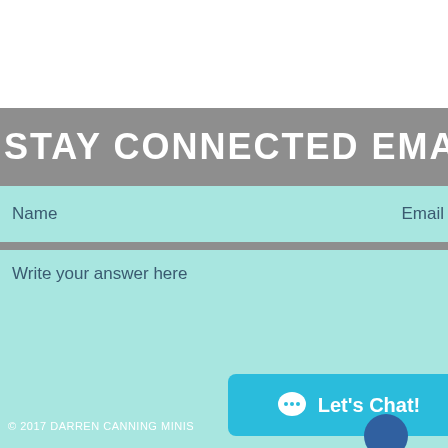STAY CONNECTED EMAIL
Name    Email
Write your answer here
© 2017 DARREN CANNING MINIS
[Figure (screenshot): Live chat button with speech bubble icon and text 'Let's Chat!' on a cyan/teal background]